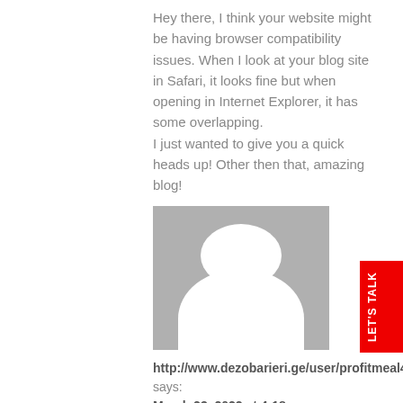Hey there, I think your website might be having browser compatibility issues. When I look at your blog site in Safari, it looks fine but when opening in Internet Explorer, it has some overlapping.
I just wanted to give you a quick heads up! Other then that, amazing blog!
[Figure (illustration): Generic grey avatar placeholder image showing a white silhouette of a person (head and shoulders) on a grey background]
http://www.dezobarieri.ge/user/profitmeal46/ says:
March 23, 2022 at 4:18 am
Hi there this is kinda of off topic but I was wondering if blogs use WYSIWYG editors or if you have to manually code with HTML. I'm starting a blog soon but have no coding expertise so I wanted to get advice from someone with experience.